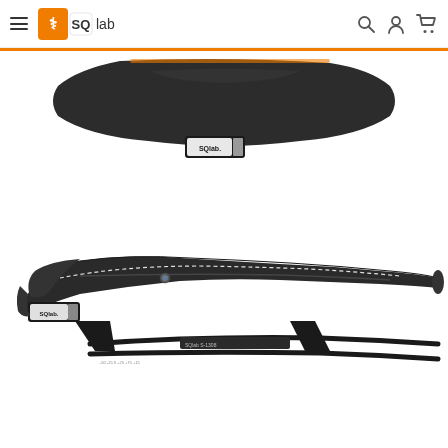[Figure (screenshot): SQlab website product page showing a bicycle saddle (SQlab branded) from two angles: top/rear view at top and side profile view at bottom. Navigation bar with hamburger menu, SQlab logo, search icon, user icon, and cart icon at top. Orange divider line below nav. Two product photos of a black SQlab bicycle saddle.]